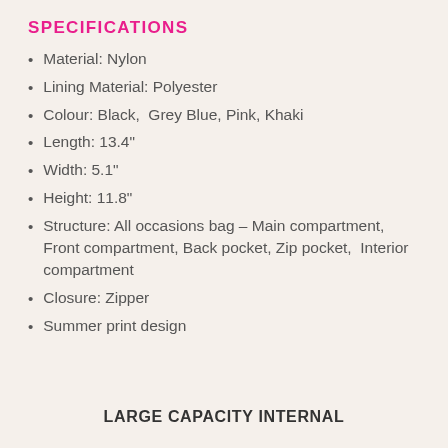SPECIFICATIONS
Material: Nylon
Lining Material: Polyester
Colour: Black,  Grey Blue, Pink, Khaki
Length: 13.4"
Width: 5.1"
Height: 11.8"
Structure: All occasions bag – Main compartment, Front compartment, Back pocket, Zip pocket, Interior compartment
Closure: Zipper
Summer print design
LARGE CAPACITY INTERNAL